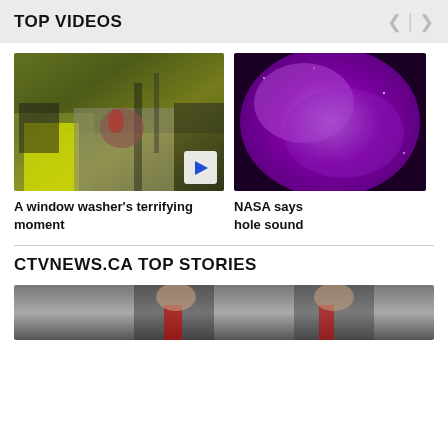TOP VIDEOS
[Figure (photo): Video thumbnail: A window washer covered in blood being rescued by emergency workers with ropes and scaffolding equipment]
A window washer's terrifying moment
[Figure (photo): Video thumbnail: Purple/violet nebula or cosmic cloud - NASA space imagery]
NASA says hole sound
CTVNEWS.CA TOP STORIES
[Figure (photo): News story thumbnail: partial view of a person in formal attire]